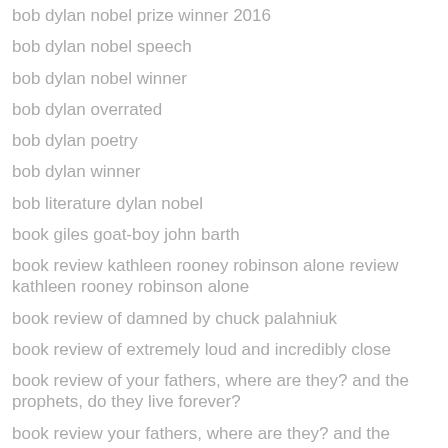bob dylan nobel prize winner 2016
bob dylan nobel speech
bob dylan nobel winner
bob dylan overrated
bob dylan poetry
bob dylan winner
bob literature dylan nobel
book giles goat-boy john barth
book review kathleen rooney robinson alone review kathleen rooney robinson alone
book review of damned by chuck palahniuk
book review of extremely loud and incredibly close
book review of your fathers, where are they? and the prophets, do they live forever?
book review your fathers, where are they? and the prophets, do they live forever?
book reviews
book reviews of eating animals by jonathan safran foer
book reviews of eating animals by jonathan safran foer (continued)